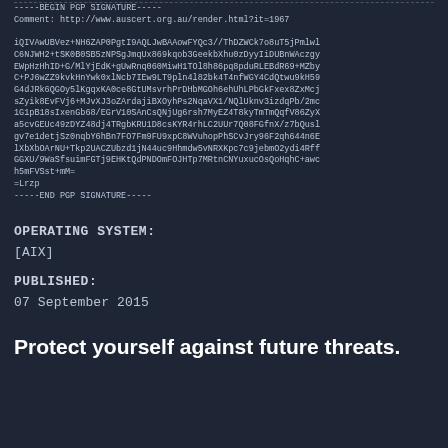-----BEGIN PGP SIGNATURE-----
Comment: http://www.auscert.org.au/render.html?it=1967

iQIVAwUBVez+NH6ZAP0PgtI9AQLJwBAAowFYQc3//ThDZWCk7o8uT5jPmlwl
C6NJWH2+tSK0B0SB5zNPSgJmqUx869kqob3GeekbXhu0zDyyIiDUBnWAczgy
EWpHzHhID+G/MlYjEdK+gUwRnq060MiwH1TOl8h86pq8pduRLEBdR69+MZby
C+PJ6wZZ9kvkHnYwk0xlNcb7IEw9LT9pln4l82bk4T4nfWGY4CdQtwu9kH59
G4dJRk6QGOy5lKgqxKA0ce8GtUMsvrhPrDHbMGOh6ehUhLPbGkFxex8ZxMcj
sZyik8EvFVj6+MJvXJ3oZArdajiBXOyhPs2NqaVX1/NQlUknv3izdqPb/2mc
1G1pB18sIxenGb68/EGrV10SAnCsQNjUg6rsh7MyEZ4T8kyTmTmQqfV86ZyX
a5cvGEUc49zDYZ48dj4TRgbKRU1D8csKYR4rhLC2UUr7Q08FGfnX/z7bQusl
gv7e1detjSz0nqbY6hBn7FO7Fm9FU9xpC8WVuhopPhSCvJry96F2qh644n6E
lXbXbOArNU+Tkp2UACZUbzd1jN44uc9Hhmdw5vNRXKpc7c9jebmO2ydi4Rff
GGXU/9WaSfsuimFGTj9EHKtQdPNDOmFOJHTp7MRtnCNYuxucOsQoHqhC+awc
h5mFVSst+mM=
=Lrzp
-----END PGP SIGNATURE-----
OPERATING SYSTEM:
[AIX]
PUBLISHED:
07 September 2015
Protect yourself against future threats.